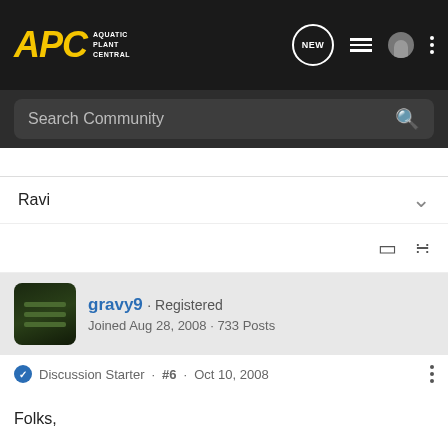APC AQUATIC PLANT CENTRAL
Search Community
Ravi
gravy9 · Registered
Joined Aug 28, 2008 · 733 Posts
Discussion Starter · #6 · Oct 10, 2008
Folks,

The 2 40-lb bags have been spoken for. I have enough for a 20-lb package that I can ship on Monday. Please let me know if